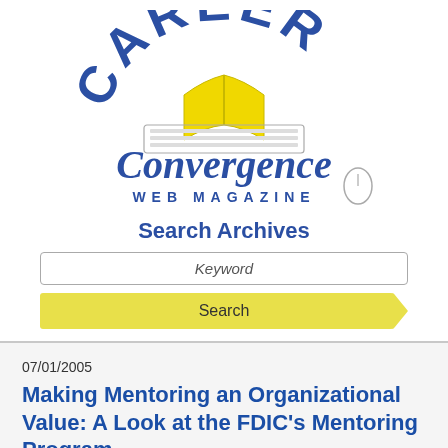[Figure (logo): Career Convergence Web Magazine logo with open book on laptop and script text]
Search Archives
Keyword
Search
07/01/2005
Making Mentoring an Organizational Value: A Look at the FDIC's Mentoring Program